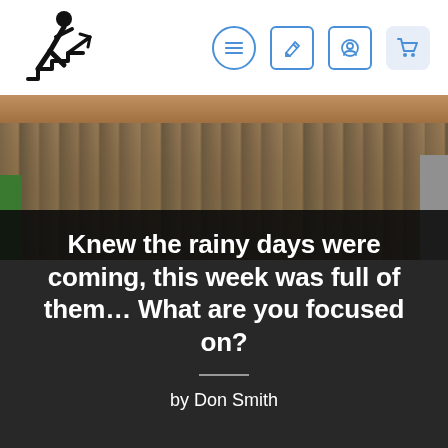[Figure (logo): Person walking up stairs icon (silhouette with arrow going up-right)]
[Figure (photo): Photo of a construction wall showing exposed wooden studs and insulation, with green surface on the left and grey on the right]
Knew the rainy days were coming, this week was full of them… What are you focused on?
by Don Smith